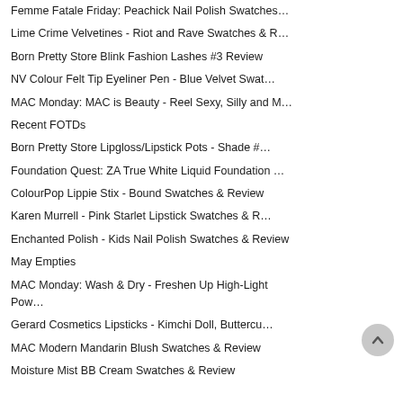Femme Fatale Friday: Peachick Nail Polish Swatches…
Lime Crime Velvetines - Riot and Rave Swatches & R…
Born Pretty Store Blink Fashion Lashes #3 Review
NV Colour Felt Tip Eyeliner Pen - Blue Velvet Swat…
MAC Monday: MAC is Beauty - Reel Sexy, Silly and M…
Recent FOTDs
Born Pretty Store Lipgloss/Lipstick Pots - Shade #…
Foundation Quest: ZA True White Liquid Foundation …
ColourPop Lippie Stix - Bound Swatches & Review
Karen Murrell - Pink Starlet Lipstick Swatches & R…
Enchanted Polish - Kids Nail Polish Swatches & Review
May Empties
MAC Monday: Wash & Dry - Freshen Up High-Light Pow…
Gerard Cosmetics Lipsticks - Kimchi Doll, Buttercu…
MAC Modern Mandarin Blush Swatches & Review
Moisture Mist BB Cream Swatches & Review